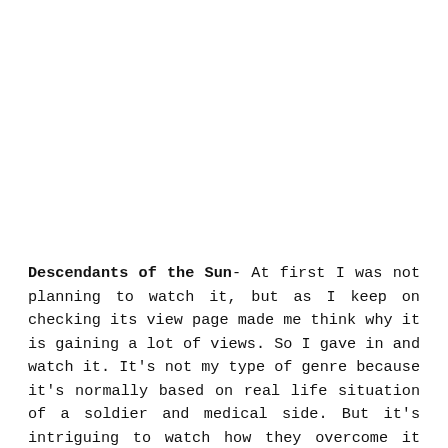Descendants of the Sun- At first I was not planning to watch it, but as I keep on checking its view page made me think why it is gaining a lot of views. So I gave in and watch it. It's not my type of genre because it's normally based on real life situation of a soldier and medical side. But it's intriguing to watch how they overcome it and the secrecy of the male lead, made me watch it until the end without no regrets. The ending satisfies me and did not give me the